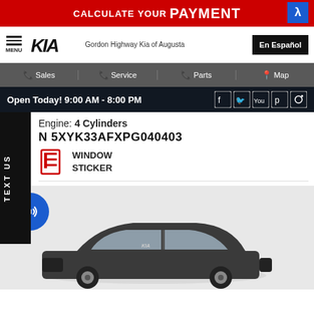[Figure (screenshot): Red banner advertisement reading CALCULATE YOUR PAYMENT with blue icon]
KIA — Gordon Highway Kia of Augusta | En Español
Sales | Service | Parts | Map
Open Today! 9:00 AM - 8:00 PM
Engine: 4 Cylinders
VIN 5XYK33AFXPG040403
TEXT US
WINDOW STICKER
[Figure (photo): Dark gray Kia SUV (Sportage) vehicle photo on light background with blue audio button icon in top left]